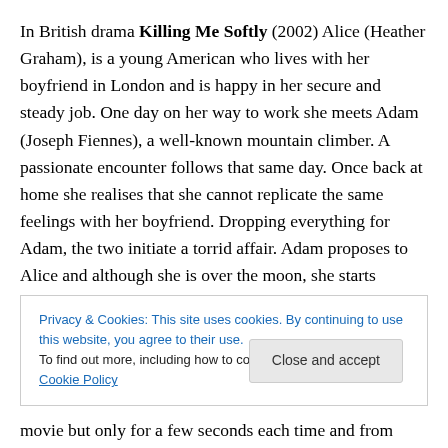In British drama Killing Me Softly (2002) Alice (Heather Graham), is a young American who lives with her boyfriend in London and is happy in her secure and steady job. One day on her way to work she meets Adam (Joseph Fiennes), a well-known mountain climber. A passionate encounter follows that same day. Once back at home she realises that she cannot replicate the same feelings with her boyfriend. Dropping everything for Adam, the two initiate a torrid affair. Adam proposes to Alice and although she is over the moon, she starts receiving a series of calls
Privacy & Cookies: This site uses cookies. By continuing to use this website, you agree to their use.
To find out more, including how to control cookies, see here: Cookie Policy
movie but only for a few seconds each time and from